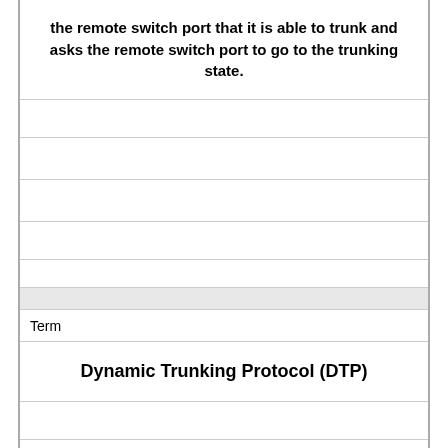the remote switch port that it is able to trunk and asks the remote switch port to go to the trunking state.
Term
Dynamic Trunking Protocol (DTP)
Definition